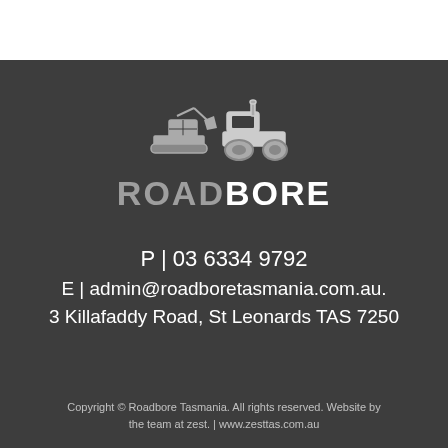[Figure (logo): Roadbore Tasmania logo — illustration of road boring machinery (two construction vehicles) in white/grey on dark background, above the brand name ROADBORE]
ROADBORE
P | 03 6334 9792
E | admin@roadboretasmania.com.au.
3 Killafaddy Road, St Leonards TAS 7250
Copyright © Roadbore Tasmania. All rights reserved. Website by the team at zest. | www.zesttas.com.au